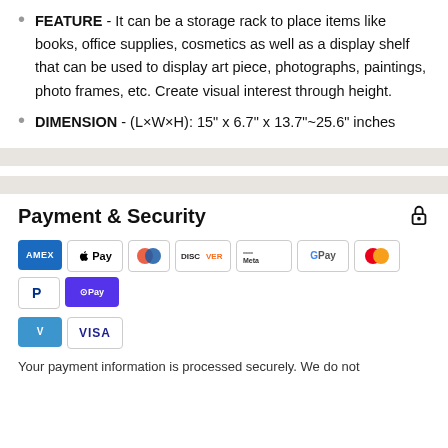FEATURE - It can be a storage rack to place items like books, office supplies, cosmetics as well as a display shelf that can be used to display art piece, photographs, paintings, photo frames, etc. Create visual interest through height.
DIMENSION - (L×W×H): 15" x 6.7" x 13.7"~25.6" inches
Payment & Security
[Figure (other): Payment method logos: American Express, Apple Pay, Diners Club, Discover, Meta Pay, Google Pay, Mastercard, PayPal, Shop Pay, Venmo, Visa]
Your payment information is processed securely. We do not